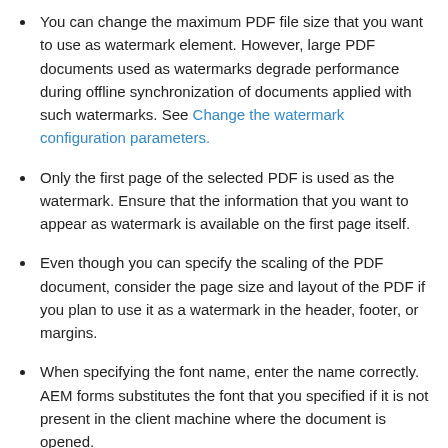You can change the maximum PDF file size that you want to use as watermark element. However, large PDF documents used as watermarks degrade performance during offline synchronization of documents applied with such watermarks. See Change the watermark configuration parameters.
Only the first page of the selected PDF is used as the watermark. Ensure that the information that you want to appear as watermark is available on the first page itself.
Even though you can specify the scaling of the PDF document, consider the page size and layout of the PDF if you plan to use it as a watermark in the header, footer, or margins.
When specifying the font name, enter the name correctly. AEM forms substitutes the font that you specified if it is not present in the client machine where the document is opened.